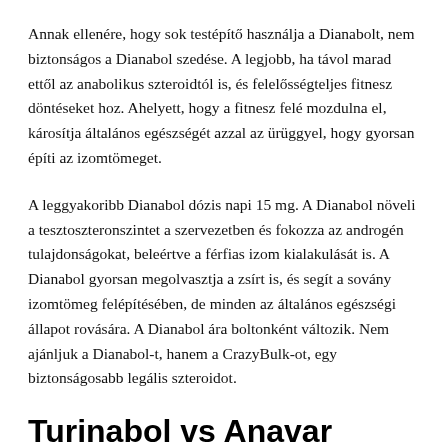Annak ellenére, hogy sok testépítő használja a Dianabolt, nem biztonságos a Dianabol szedése. A legjobb, ha távol marad ettől az anabolikus szteroidtól is, és felelősségteljes fitnesz döntéseket hoz. Ahelyett, hogy a fitnesz felé mozdulna el, károsítja általános egészségét azzal az ürüggyel, hogy gyorsan építi az izomtömeget.
A leggyakoribb Dianabol dózis napi 15 mg. A Dianabol növeli a tesztoszteronszintet a szervezetben és fokozza az androgén tulajdonságokat, beleértve a férfias izom kialakulását is. A Dianabol gyorsan megolvasztja a zsírt is, és segít a sovány izomtömeg felépítésében, de minden az általános egészségi állapot rovására. A Dianabol ára boltonként változik. Nem ajánljuk a Dianabol-t, hanem a CrazyBulk-ot, egy biztonságosabb legális szteroidot.
Turinabol vs Anavar